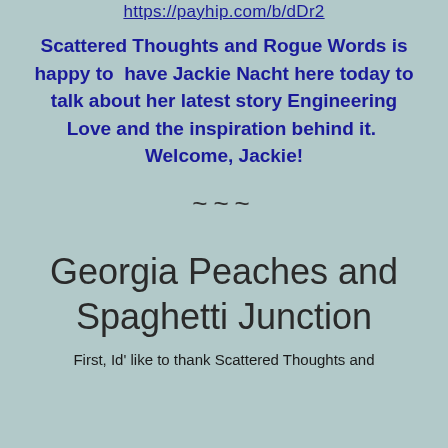https://payhip.com/b/dDr2
Scattered Thoughts and Rogue Words is happy to have Jackie Nacht here today to talk about her latest story Engineering Love and the inspiration behind it. Welcome, Jackie!
~~~
Georgia Peaches and Spaghetti Junction
First, Id' like to thank Scattered Thoughts and